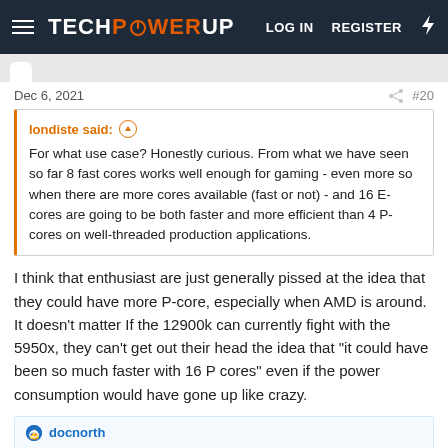TECHPOWERUP   LOG IN   REGISTER
Dec 6, 2021   #20
londiste said: ↑

For what use case? Honestly curious. From what we have seen so far 8 fast cores works well enough for gaming - even more so when there are more cores available (fast or not) - and 16 E-cores are going to be both faster and more efficient than 4 P-cores on well-threaded production applications.
I think that enthusiast are just generally pissed at the idea that they could have more P-core, especially when AMD is around. It doesn't matter If the 12900k can currently fight with the 5950x, they can't get out their head the idea that "it could have been so much faster with 16 P cores" even if the power consumption would have gone up like crazy.
docnorth